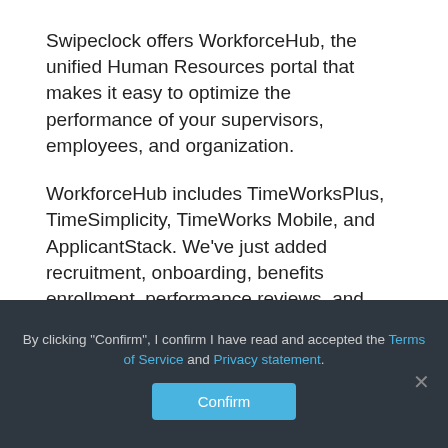Swipeclock offers WorkforceHub, the unified Human Resources portal that makes it easy to optimize the performance of your supervisors, employees, and organization.
WorkforceHub includes TimeWorksPlus, TimeSimplicity, TimeWorks Mobile, and ApplicantStack. We've just added recruitment, onboarding, benefits enrollment, performance reviews, and employee engagement! WorkforceHub is created for busy employers like you who need to reduce cost-per-hire, streamline
By clicking "Confirm", I confirm I have read and accepted the Terms of Service and Privacy statement.